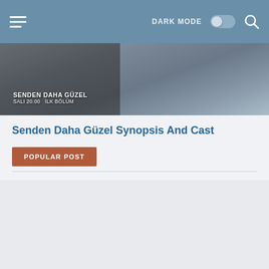DARK MODE [toggle] [search]
[Figure (screenshot): TV show thumbnail image with text overlay: SENDEN DAHA GÜZEL / SALI 20.00  ILK BÖLÜM]
Senden Daha Güzel Synopsis And Cast
POPULAR POST
[Figure (other): Advertisement/empty ad space area]
Episode 12 Senden Daha Güzel (More Beautiful Than You): Trailer And Summary